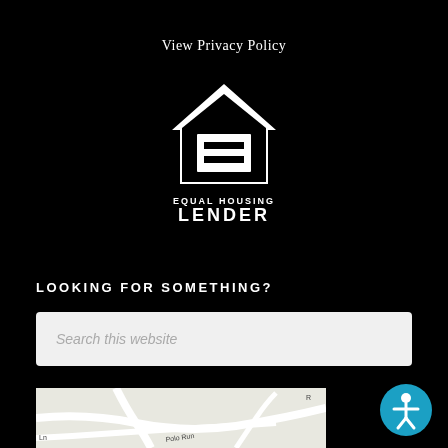View Privacy Policy
[Figure (logo): Equal Housing Lender logo: white house silhouette with an equals sign inside, followed by text EQUAL HOUSING LENDER]
LOOKING FOR SOMETHING?
Search this website
[Figure (map): A partial map showing roads including Polo Run street in a light grey/white map style]
[Figure (other): Circular teal accessibility button with a white person icon (wheelchair accessibility symbol)]